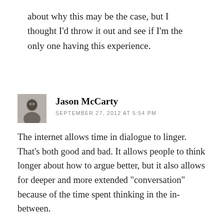about why this may be the case, but I thought I'd throw it out and see if I'm the only one having this experience.
[Figure (photo): Small grayscale avatar photo of Jason McCarty]
Jason McCarty
SEPTEMBER 27, 2012 AT 5:54 PM
The internet allows time in dialogue to linger. That's both good and bad. It allows people to think longer about how to argue better, but it also allows for deeper and more extended "conversation" because of the time spent thinking in the in-between.
I also think it's the new city because it is where people flock to now in order to create new ventures. It is also the new frontier. In my original